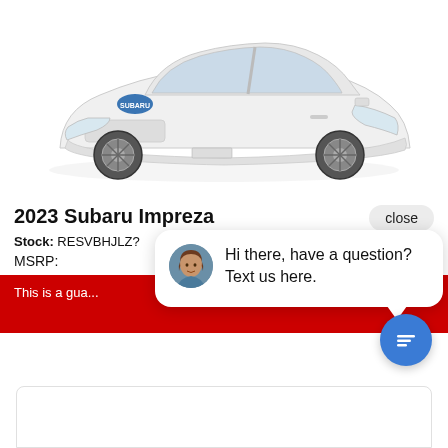[Figure (photo): White 2023 Subaru Impreza sedan shown from front three-quarter angle on white background]
2023 Subaru Impreza
close
Stock: RESVBHJLZ?
MSRP:
This is a gua...
[Figure (screenshot): Chat widget popup with woman avatar and message: Hi there, have a question? Text us here.]
[Figure (screenshot): Blue circular chat button with message icon]